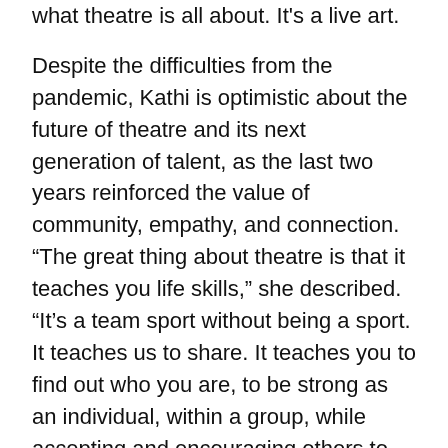what theatre is all about. It's a live art.
Despite the difficulties from the pandemic, Kathi is optimistic about the future of theatre and its next generation of talent, as the last two years reinforced the value of community, empathy, and connection. “The great thing about theatre is that it teaches you life skills,” she described. “It’s a team sport without being a sport. It teaches us to share. It teaches you to find out who you are, to be strong as an individual, within a group, while accepting and encouraging others to do the same.”
When it comes to youth, Kathi underscores how important this kind of active, engaging learning environment is in helping students gain confidence in themselves, while learning how to collaborate and collectively create with